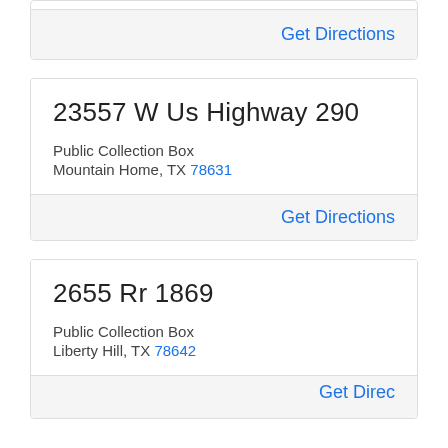Get Directions
23557 W Us Highway 290
Public Collection Box
Mountain Home, TX 78631
Get Directions
2655 Rr 1869
Public Collection Box
Liberty Hill, TX 78642
Get Directions